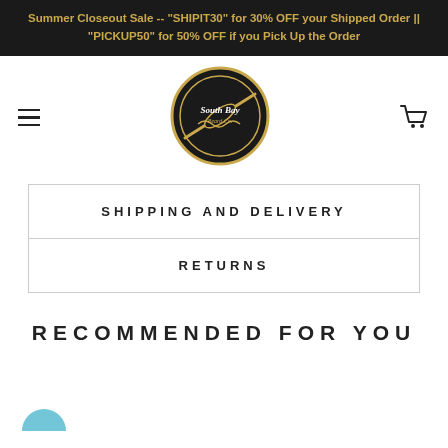Summer Closeout Sale -- "SHIPIT30" for 30% OFF your Shipped Order || "PICKUP50" for 50% OFF if you Pick Up the Order
[Figure (logo): South Bay Beard Co. circular logo with skateboard and wave design]
SHIPPING AND DELIVERY
RETURNS
RECOMMENDED FOR YOU